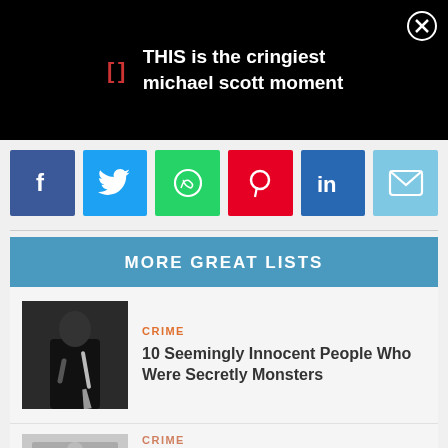[Figure (screenshot): Video thumbnail with black background showing title text and YouTube-style controls. Red bracket icon on left, close button (X in circle) on right.]
THIS is the cringiest michael scott moment
[Figure (infographic): Social share buttons row: Facebook (blue), Twitter (blue), WhatsApp (green), Pinterest (red), LinkedIn (dark blue), Email (light blue)]
MORE GREAT LISTS
[Figure (photo): Person in dark suit holding a large kitchen knife behind their back]
CRIME
10 Seemingly Innocent People Who Were Secretly Monsters
CRIME
10 Celebrities Fighting Human Trafficking